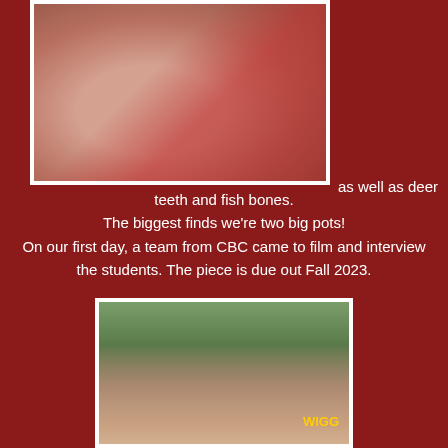[Figure (photo): Close-up photo of a hand or ankle/foot with veins visible, resting on a red surface, with white border frame]
as well as deer teeth and fish bones.
The biggest finds we're two big pots!
On our first day, a team from CBC came to film and interview the students. The piece is due out Fall 2023.
[Figure (photo): Selfie photo of a woman with blonde hair in the foreground and a man wearing sunglasses and a hat in the background, man wearing green t-shirt with Wiggly logo, outdoors with green trees]